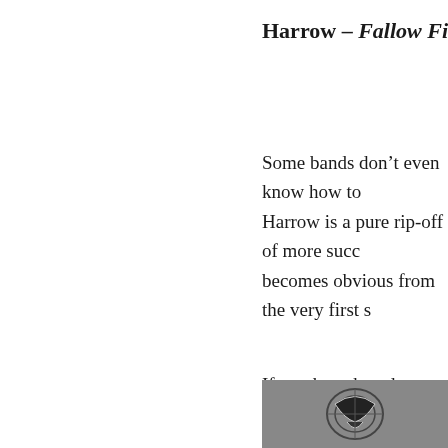Harrow – Fallow Fields (2015)
Some bands don't even know how to Harrow is a pure rip-off of more succ becomes obvious from the very first s
If you have heard Agalloch, Kroda an of this release, but never before has s the faux-ambient genre. Pass this one Lyset Tar Oss instead.
[Figure (photo): Grayscale image showing a circular emblem/logo with a stylized bat or creature design in black and white against a gray background]